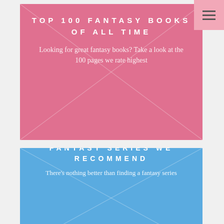[Figure (illustration): Pink banner card with decorative X/envelope pattern overlay. Contains title text 'TOP 100 FANTASY BOOKS OF ALL TIME' and subtitle text.]
TOP 100 FANTASY BOOKS OF ALL TIME
Looking for great fantasy books? Take a look at the 100 pages we rate highest
[Figure (illustration): Blue banner card with decorative X/envelope pattern overlay. Contains title text 'FANTASY SERIES WE RECOMMEND' and partial subtitle text.]
FANTASY SERIES WE RECOMMEND
There's nothing better than finding a fantasy series